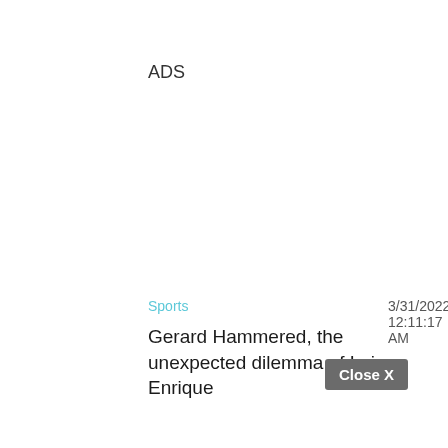ADS
Sports    3/31/2022, 12:11:17 AM
Gerard Hammered, the unexpected dilemma of Luis Enrique
Close X